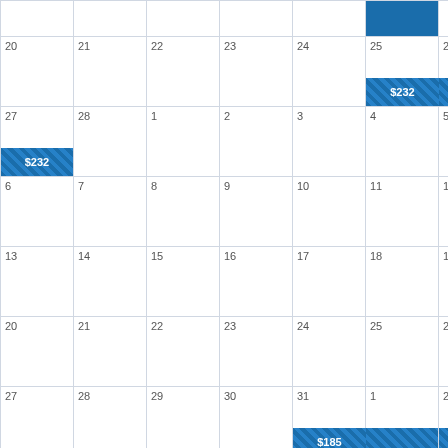|  |  |  |  |  | 25 | 26 |
| 20 | 21 | 22 | 23 | 24 | 25 | 26 |
| 27 | 28 | 1 | 2 | 3 | 4 | 5 |
| 6 | 7 | 8 | 9 | 10 | 11 | 12 |
| 13 | 14 | 15 | 16 | 17 | 18 | 19 |
| 20 | 21 | 22 | 23 | 24 | 25 | 26 |
| 27 | 28 | 29 | 30 | 31 | 1 | 2 |
| 3 | 4 | 5 | 6 | 7 | 8 | 9 |